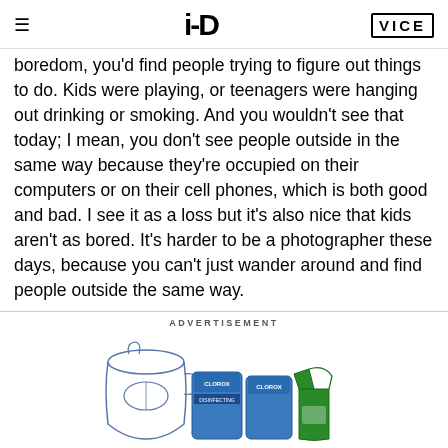i-D | VICE
boredom, you'd find people trying to figure out things to do. Kids were playing, or teenagers were hanging out drinking or smoking. And you wouldn't see that today; I mean, you don't see people outside in the same way because they're occupied on their computers or on their cell phones, which is both good and bad. I see it as a loss but it's also nice that kids aren't as bored. It's harder to be a photographer these days, because you can't just wander around and find people outside the same way.
ADVERTISEMENT
[Figure (photo): Advertisement showing Clorox cleaning product bottles partially visible at bottom of page]